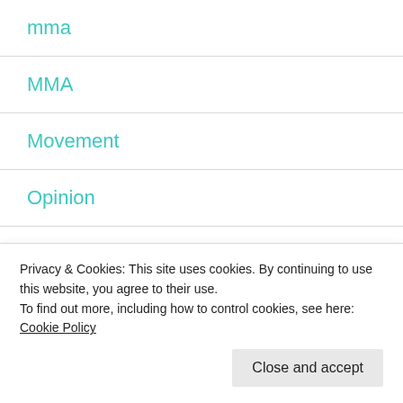mma
MMA
Movement
Opinion
podcast
posture
Privacy & Cookies: This site uses cookies. By continuing to use this website, you agree to their use.
To find out more, including how to control cookies, see here: Cookie Policy
Close and accept